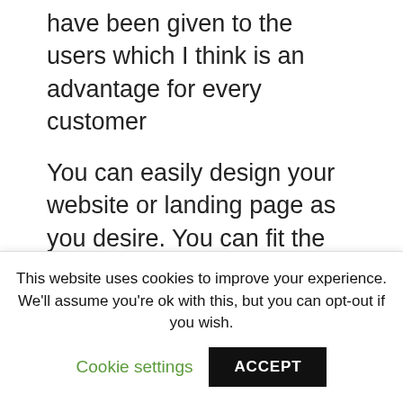have been given to the users which I think is an advantage for every customer
You can easily design your website or landing page as you desire. You can fit the requirements you need, choose the settings and design exactly how you want your page to be, and last but not least the services provided by the software are fast
Speed and ease of use are what attracts customers the most to Convertri. Below
This website uses cookies to improve your experience. We'll assume you're ok with this, but you can opt-out if you wish.
Cookie settings
ACCEPT